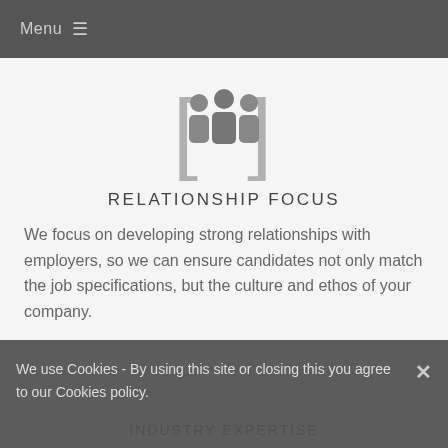Menu ≡
[Figure (illustration): Icon of three people silhouettes inside bracket symbols, gray color scheme]
RELATIONSHIP FOCUS
We focus on developing strong relationships with employers, so we can ensure candidates not only match the job specifications, but the culture and ethos of your company.
[Figure (illustration): Partially visible icon of house/building inside bracket symbols, gray color scheme]
INDUSTRY EXPERTISE
We use Cookies - By using this site or closing this you agree to our Cookies policy.